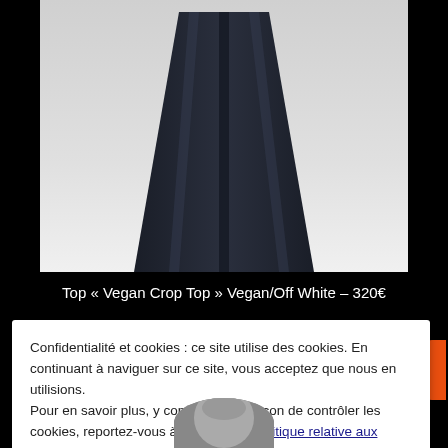[Figure (photo): Product photo showing dark navy wide-leg trousers worn by a model, cropped to show waist down to floor on white background]
Top « Vegan Crop Top » Vegan/Off White – 320€
Confidentialité et cookies : ce site utilise des cookies. En continuant à naviguer sur ce site, vous acceptez que nous en utilisions. Pour en savoir plus, y compris sur la façon de contrôler les cookies, reportez-vous à ce qui suit : Politique relative aux cookies
Fermer et accepter
[Figure (photo): Bottom portion of another product photo showing top of a person's head wearing a hat]